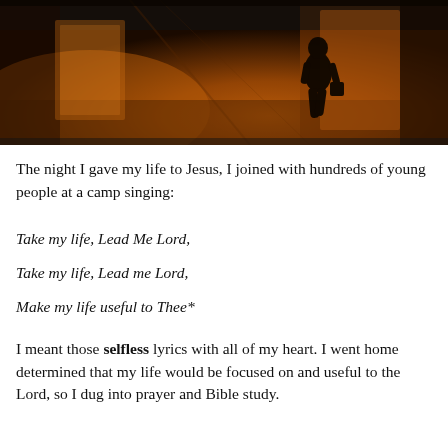[Figure (photo): Dark atmospheric photo of a silhouetted person walking through a dimly lit corridor or tunnel with warm orange/amber lighting on the walls.]
The night I gave my life to Jesus, I joined with hundreds of young people at a camp singing:
Take my life, Lead Me Lord,
Take my life, Lead me Lord,
Make my life useful to Thee*
I meant those selfless lyrics with all of my heart. I went home determined that my life would be focused on and useful to the Lord, so I dug into prayer and Bible study.